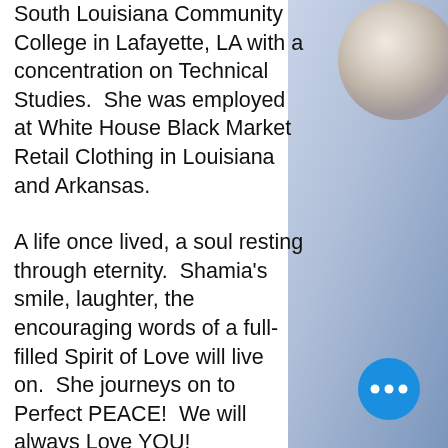Shamia continued her education at the South Louisiana Community College in Lafayette, LA with a concentration on Technical Studies.  She was employed at White House Black Market Retail Clothing in Louisiana and Arkansas.
A life once lived, a soul resting through eternity.  Shamia's smile, laughter, the encouraging words of a full-filled Spirit of Love will live on.  She journeys on to Perfect PEACE!  We will always Love YOU!
Shamia comforts those in waiting to take their spiritual flight.
Parents:  Warren (Pat) Johnson (Oakland, CA) and Ruby Wright (Fo... Smith, AR)...
[Figure (photo): Partial photo of a person visible on the right side of the page, with a light blue-grey background]